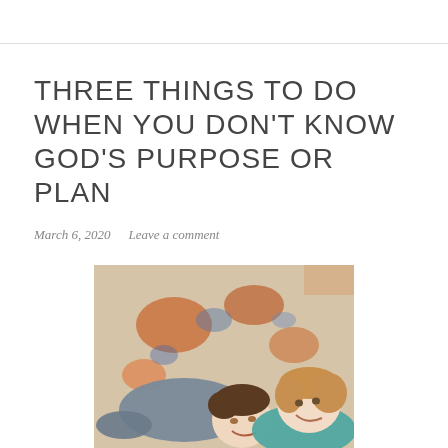THREE THINGS TO DO WHEN YOU DON’T KNOW GOD’S PURPOSE OR PLAN
March 6, 2020   Leave a comment
[Figure (photo): Two children lying on a colorful rug, smiling at each other. One child wears a grey top, the other a teal top. The rug has orange and blue patterns.]